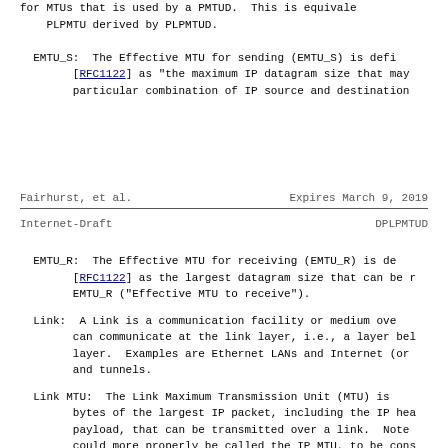for MTUs that is used by a PMTUD.  This is equivalent to the PLPMTU derived by PLPMTUD.
EMTU_S:  The Effective MTU for sending (EMTU_S) is defined in [RFC1122] as "the maximum IP datagram size that may be sent for a particular combination of IP source and destination
Fairhurst, et al.             Expires March 9, 2019
Internet-Draft                         DPLPMTUD
EMTU_R:  The Effective MTU for receiving (EMTU_R) is defined in [RFC1122] as the largest datagram size that can be received. EMTU_R ("Effective MTU to receive").
Link:  A Link is a communication facility or medium over which nodes can communicate at the link layer, i.e., a layer below the IP layer.  Examples are Ethernet LANs and Internet (or higher-layer) and tunnels.
Link MTU:  The Link Maximum Transmission Unit (MTU) is the size in bytes of the largest IP packet, including the IP header and payload, that can be transmitted over a link.  Note that this could more properly be called the IP MTU, to be consistent with how other standards organizations use the acronym